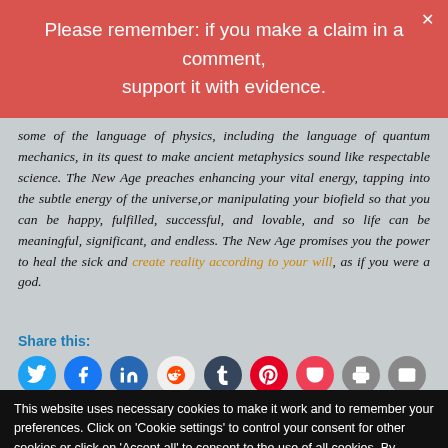Please remember: if you make a claim in a comment, support it with evidence.
some of the language of physics, including the language of quantum mechanics, in its quest to make ancient metaphysics sound like respectable science. The New Age preaches enhancing your vital energy, tapping into the subtle energy of the universe, or manipulating your biofield so that you can be happy, fulfilled, successful, and lovable, and so life can be meaningful, significant, and endless. The New Age promises you the power to heal the sick and create reality according to your will, as if you were a god.
Share this:
This website uses necessary cookies to make it work and to remember your preferences. Click on 'Cookie settings' to control your consent for other cookies or click on 'Accept all' to consent to the use of all cookies. By continuing to browse this website you are agreeing to our Privacy policy.